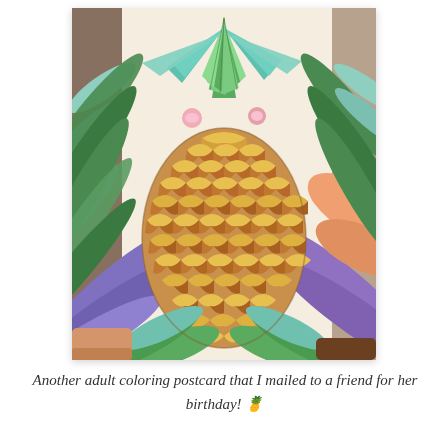[Figure (illustration): A hand holding a colored adult coloring postcard featuring a large detailed pineapple surrounded by tropical leaves, flowers, and decorative foliage. The pineapple body is colored in golden yellow and brown tones with a chevron scale pattern, the leaves and surrounding plants are colored in green, teal, blue, purple, and orange.]
Another adult coloring postcard that I mailed to a friend for her birthday! 🍍